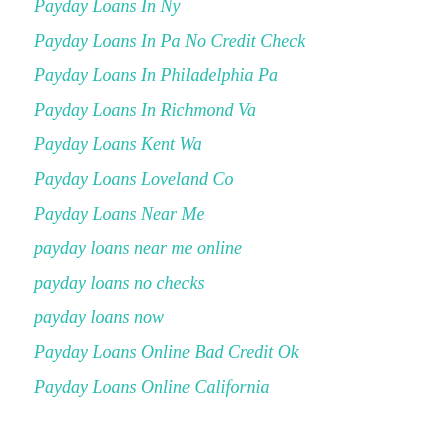Payday Loans In Ny
Payday Loans In Pa No Credit Check
Payday Loans In Philadelphia Pa
Payday Loans In Richmond Va
Payday Loans Kent Wa
Payday Loans Loveland Co
Payday Loans Near Me
payday loans near me online
payday loans no checks
payday loans now
Payday Loans Online Bad Credit Ok
Payday Loans Online California